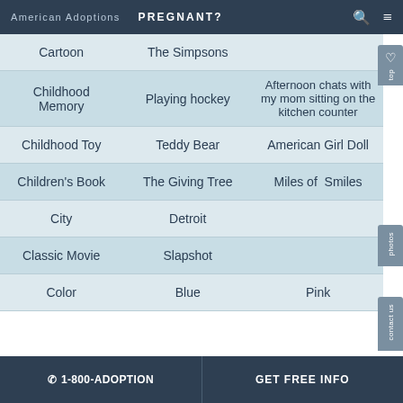American Adoptions   PREGNANT?
| Category | He | She |
| --- | --- | --- |
| Cartoon | The Simpsons |  |
| Childhood Memory | Playing hockey | Afternoon chats with my mom sitting on the kitchen counter |
| Childhood Toy | Teddy Bear | American Girl Doll |
| Children's Book | The Giving Tree | Miles of Smiles |
| City | Detroit |  |
| Classic Movie | Slapshot |  |
| Color | Blue | Pink |
☎ 1-800-ADOPTION    GET FREE INFO